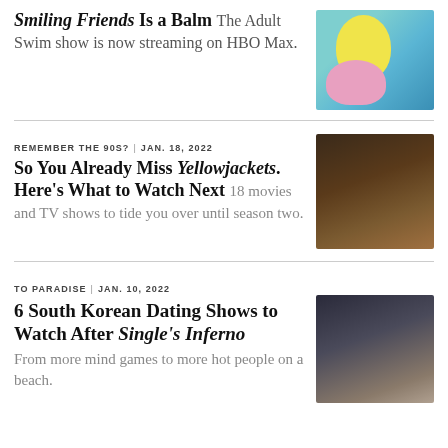Smiling Friends Is a Balm
The Adult Swim show is now streaming on HBO Max.
[Figure (illustration): Cartoon characters from Smiling Friends: yellow blob character with arms raised and pink blob character]
REMEMBER THE 90S?  |  JAN. 18, 2022
So You Already Miss Yellowjackets. Here's What to Watch Next
18 movies and TV shows to tide you over until season two.
[Figure (photo): Group of people standing together in dark outdoor setting, scene from Yellowjackets]
TO PARADISE  |  JAN. 10, 2022
6 South Korean Dating Shows to Watch After Single's Inferno
From more mind games to more hot people on a beach.
[Figure (photo): Portrait of a woman, scene from Single's Inferno]